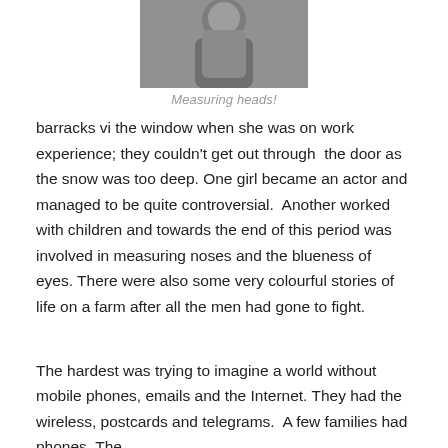[Figure (photo): Black and white photograph of people, partially cropped at top]
Measuring heads!
barracks vi the window when she was on work experience; they couldn't get out through  the door as the snow was too deep. One girl became an actor and managed to be quite controversial.  Another worked with children and towards the end of this period was involved in measuring noses and the blueness of eyes. There were also some very colourful stories of life on a farm after all the men had gone to fight.
The hardest was trying to imagine a world without mobile phones, emails and the Internet. They had the wireless, postcards and telegrams.  A few families had phones. The